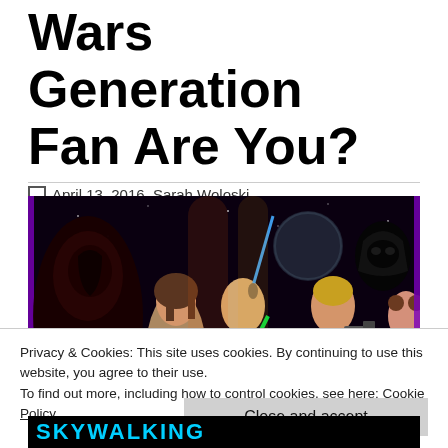Wars Generation Fan Are You?
April 13, 2016  Sarah Woloski
[Figure (photo): Star Wars collage featuring characters from multiple Star Wars generations including Kylo Ren, Rey, Anakin Skywalker, Luke Skywalker with blaster, Darth Vader, and Princess Leia against a space background.]
Privacy & Cookies: This site uses cookies. By continuing to use this website, you agree to their use.
To find out more, including how to control cookies, see here: Cookie Policy
Close and accept
SKYWALKING